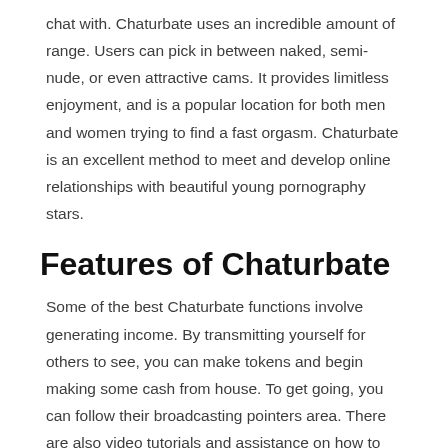chat with. Chaturbate uses an incredible amount of range. Users can pick in between naked, semi-nude, or even attractive cams. It provides limitless enjoyment, and is a popular location for both men and women trying to find a fast orgasm. Chaturbate is an excellent method to meet and develop online relationships with beautiful young pornography stars.
Features of Chaturbate
Some of the best Chaturbate functions involve generating income. By transmitting yourself for others to see, you can make tokens and begin making some cash from house. To get going, you can follow their broadcasting pointers area. There are also video tutorials and assistance on how to build a big fan base and make money on Chaturbate. You can also browse through their Tags area to discover entertainers that fit your choices. Popular tags are #teen, #lovense, and #big boobs.